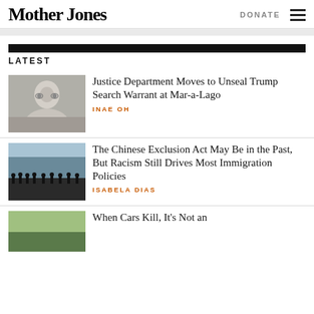Mother Jones
LATEST
[Figure (photo): Photo of a gray-haired man with glasses looking upward]
Justice Department Moves to Unseal Trump Search Warrant at Mar-a-Lago
INAE OH
[Figure (photo): Silhouette of people standing against sky with clouds]
The Chinese Exclusion Act May Be in the Past, But Racism Still Drives Most Immigration Policies
ISABELA DIAS
[Figure (photo): Partial photo, cut off at bottom]
When Cars Kill, It's Not an